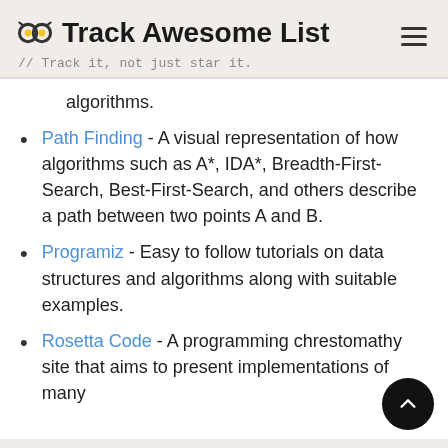Track Awesome List // Track it, not just star it.
algorithms.
Path Finding - A visual representation of how algorithms such as A*, IDA*, Breadth-First-Search, Best-First-Search, and others describe a path between two points A and B.
Programiz - Easy to follow tutorials on data structures and algorithms along with suitable examples.
Rosetta Code - A programming chrestomathy site that aims to present implementations of many